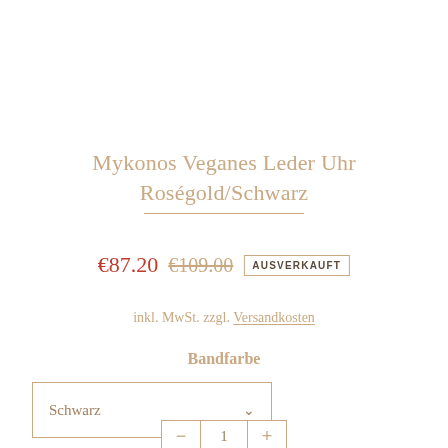Mykonos Veganes Leder Uhr Roségold/Schwarz
€87.20  €109.00  AUSVERKAUFT
inkl. MwSt. zzgl. Versandkosten
Bandfarbe
Schwarz
1